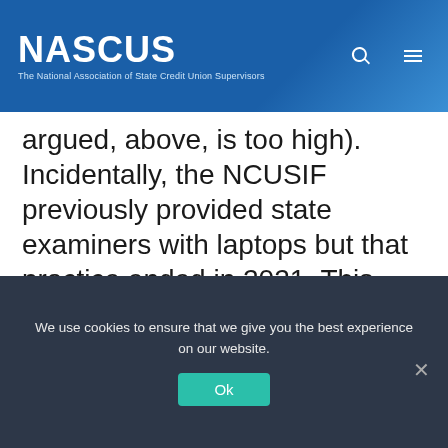NASCUS — The National Association of State Credit Union Supervisors
argued, above, is too high). Incidentally, the NCUSIF previously provided state examiners with laptops but that practice ended in 2021. This raises the question of why NCUSIF now covers laptops for NCUA examiners but no longer does for state examiners.

In the 12/16/20 Board Action Memorandum (BAM) requesting approval of the agency's
We use cookies to ensure that we give you the best experience on our website.